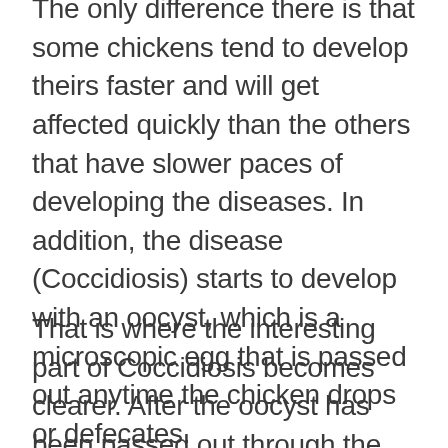The only difference there is that some chickens tend to develop theirs faster and will get affected quickly than the others that have slower paces of developing the diseases. In addition, the disease (Coccidiosis) starts to develop with an oocyst, which is a microscopic egg that is passed out anytime the chicken drops or defecates.
That is where the interesting part of Coccidiosis becomes clearer. After the oocyst has been passed out through the chicken's droppings, it will not be able to become infectious (sporulate) except if